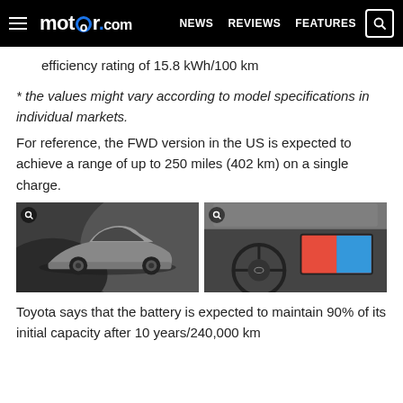motor1.com  NEWS  REVIEWS  FEATURES
efficiency rating of 15.8 kWh/100 km
* the values might vary according to model specifications in individual markets.
For reference, the FWD version in the US is expected to achieve a range of up to 250 miles (402 km) on a single charge.
[Figure (photo): Toyota bZ4X electric SUV exterior shot in silver/grey color against a curved sculptural background]
[Figure (photo): Toyota bZ4X interior showing steering wheel, digital instrument cluster, and large central touchscreen infotainment system]
Toyota says that the battery is expected to maintain 90% of its initial capacity after 10 years/240,000 km